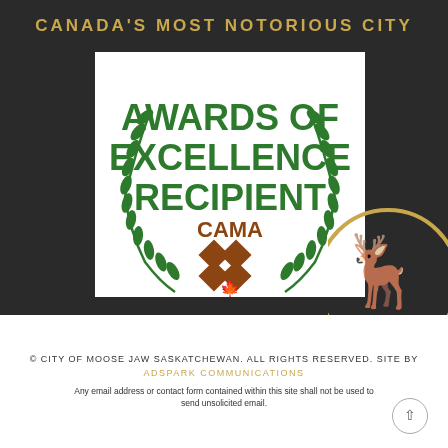CANADA'S MOST NOTORIOUS CITY
[Figure (illustration): CAMA Awards of Excellence Recipient badge with green laurel wreath, text 'AWARDS OF EXCELLENCE RECIPIENT', 'CAMA' in brown, four brown diamonds arranged in a square below, and a small maple leaf at the bottom]
[Figure (illustration): Moose head illustration with gold circular border, partially visible in bottom-right corner of dark section]
© CITY OF MOOSE JAW SASKATCHEWAN. ALL RIGHTS RESERVED. SITE BY ADSPARK COMMUNICATIONS Any email address or contact form contained within this site shall not be used to send unsolicited email.